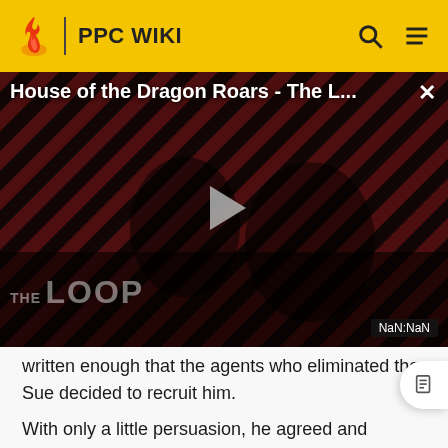PPC WIKI
[Figure (screenshot): Video thumbnail for 'House of the Dragon Roars - The L...' showing a dark background with diagonal red and black stripes, two figures silhouetted, a play button in the center, THE LOOP watermark at bottom left, and NaN:NaN timecode at bottom right. An X close button appears top right.]
written enough that the agents who eliminated the Sue decided to recruit him.
With only a little persuasion, he agreed and returned to the PPC with them, immediately being assigned to Cara Fielding, whose previous partner had just been removed